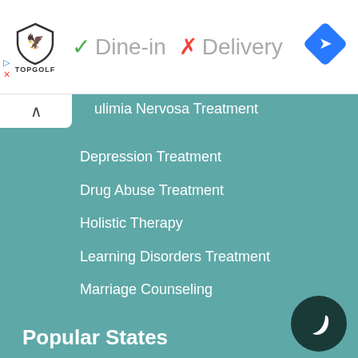[Figure (logo): Topgolf logo with shield icon]
✓ Dine-in  ✗ Delivery
[Figure (other): Blue navigation/directions diamond icon]
Bulimia Nervosa Treatment
Depression Treatment
Drug Abuse Treatment
Holistic Therapy
Learning Disorders Treatment
Marriage Counseling
Online Treatment
PTSD Treatment
View All Conditions
Popular States
[Figure (logo): Psychology Today circular logo with moon/face icon]